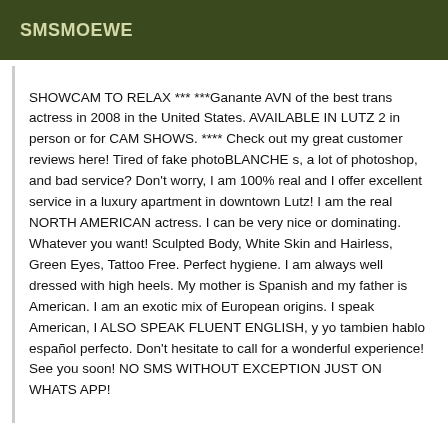SMSMOEWE
SHOWCAM TO RELAX *** ***Ganante AVN of the best trans actress in 2008 in the United States. AVAILABLE IN LUTZ 2 in person or for CAM SHOWS. **** Check out my great customer reviews here! Tired of fake photoBLANCHE s, a lot of photoshop, and bad service? Don't worry, I am 100% real and I offer excellent service in a luxury apartment in downtown Lutz! I am the real NORTH AMERICAN actress. I can be very nice or dominating. Whatever you want! Sculpted Body, White Skin and Hairless, Green Eyes, Tattoo Free. Perfect hygiene. I am always well dressed with high heels. My mother is Spanish and my father is American. I am an exotic mix of European origins. I speak American, I ALSO SPEAK FLUENT ENGLISH, y yo tambien hablo español perfecto. Don't hesitate to call for a wonderful experience! See you soon! NO SMS WITHOUT EXCEPTION JUST ON WHATS APP!